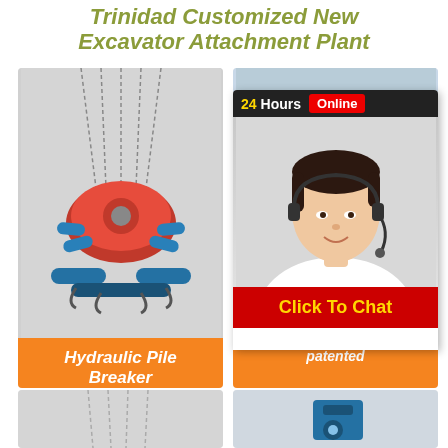Trinidad Customized New Excavator Attachment Plant
[Figure (photo): Hydraulic pile breaker machine with orange and blue components suspended by chains]
Hydraulic Pile Breaker
[Figure (photo): Light blue excavator attachment bracket/connector piece]
[Figure (photo): Customer service agent with headset, 24 Hours Online chat overlay with Click To Chat button]
Click To Chat
[Figure (photo): Bottom left partial product image with chains]
[Figure (photo): Bottom right partial product image with blue machinery]